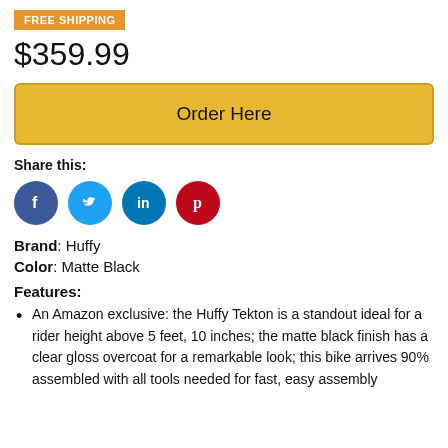FREE SHIPPING
$359.99
Order Here
Share this:
[Figure (infographic): Four social media icon circles: Facebook (blue), Twitter (light blue), LinkedIn (blue), Pinterest (red)]
Brand: Huffy
Color: Matte Black
Features:
An Amazon exclusive: the Huffy Tekton is a standout ideal for a rider height above 5 feet, 10 inches; the matte black finish has a clear gloss overcoat for a remarkable look; this bike arrives 90% assembled with all tools needed for fast, easy assembly